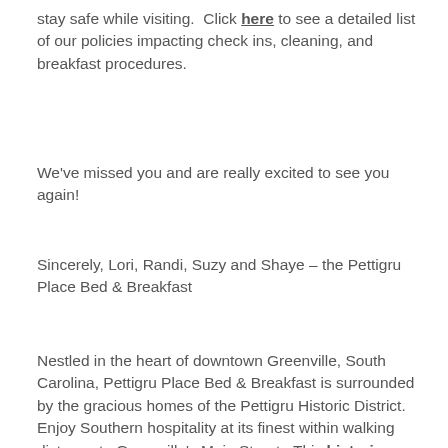stay safe while visiting.  Click here to see a detailed list of our policies impacting check ins, cleaning, and breakfast procedures.
We've missed you and are really excited to see you again!
Sincerely, Lori, Randi, Suzy and Shaye – the Pettigru Place Bed & Breakfast
Nestled in the heart of downtown Greenville, South Carolina, Pettigru Place Bed & Breakfast is surrounded by the gracious homes of the Pettigru Historic District. Enjoy Southern hospitality at its finest within walking distance to Greenville's Main Street.  This historic retreat features beautifully appointed common rooms, six luxurious guest rooms with private baths, and a